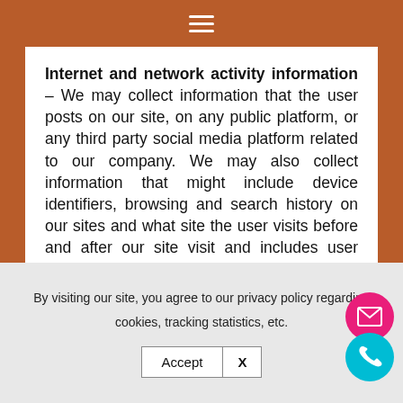≡
Internet and network activity information – We may collect information that the user posts on our site, on any public platform, or any third party social media platform related to our company. We may also collect information that might include device identifiers, browsing and search history on our sites and what site the user visits before and after our site visit and includes user interactions with our digital ads.
By visiting our site, you agree to our privacy policy regarding cookies, tracking statistics, etc.